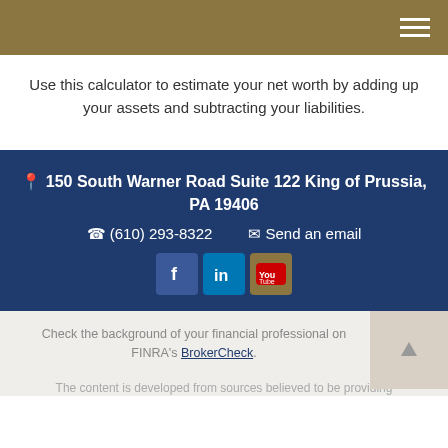Use this calculator to estimate your net worth by adding up your assets and subtracting your liabilities.
150 South Warner Road Suite 122 King of Prussia, PA 19406
(610) 293-8322  Send an email
Check the background of your financial professional on FINRA's BrokerCheck.